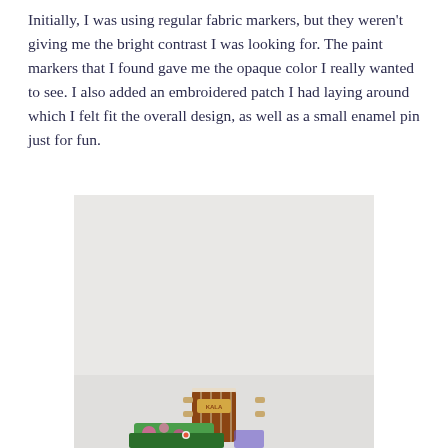Initially, I was using regular fabric markers, but they weren't giving me the bright contrast I was looking for. The paint markers that I found gave me the opaque color I really wanted to see. I also added an embroidered patch I had laying around which I felt fit the overall design, as well as a small enamel pin just for fun.
[Figure (photo): A ukulele with colorful decorations photographed against a light grey/white wall background. The headstock of the ukulele is visible at the bottom center of the image with colorful items below it.]